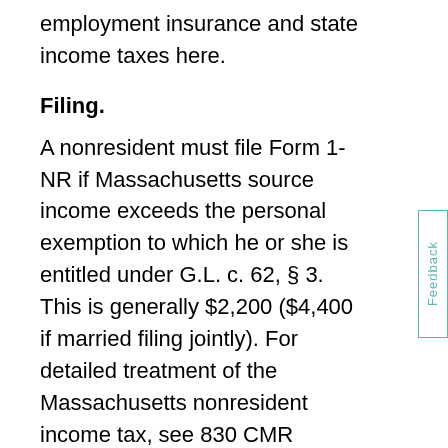employment insurance and state income taxes here.
Filing.
A nonresident must file Form 1-NR if Massachusetts source income exceeds the personal exemption to which he or she is entitled under G.L. c. 62, § 3. This is generally $2,200 ($4,400 if married filing jointly). For detailed treatment of the Massachusetts nonresident income tax, see 830 CMR 62.5A.1, Nonresident Income Tax.
Estimated Taxes.
Under G.L. c. 62B, § 13, every person who reasonably expects to owe more than $200 in tax on income not subject to withholding is required to pay over estimated taxes. These payments must be made in